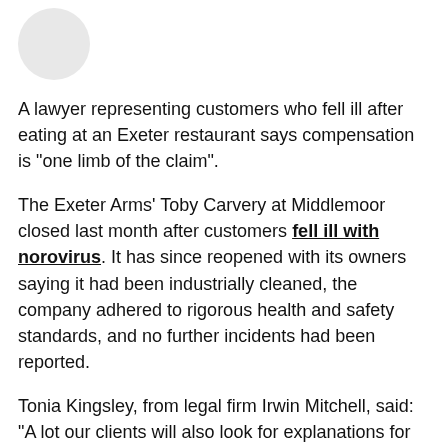[Figure (photo): Small circular avatar/profile image placeholder in light grey]
A lawyer representing customers who fell ill after eating at an Exeter restaurant says compensation is "one limb of the claim".
The Exeter Arms' Toby Carvery at Middlemoor closed last month after customers fell ill with norovirus. It has since reopened with its owners saying it had been industrially cleaned, the company adhered to rigorous health and safety standards, and no further incidents had been reported.
Tonia Kingsley, from legal firm Irwin Mitchell, said: "A lot our clients will also look for explanations for why it happened and if it could have been avoided. In some senses, closure and an explanation is an outcome that we look for."